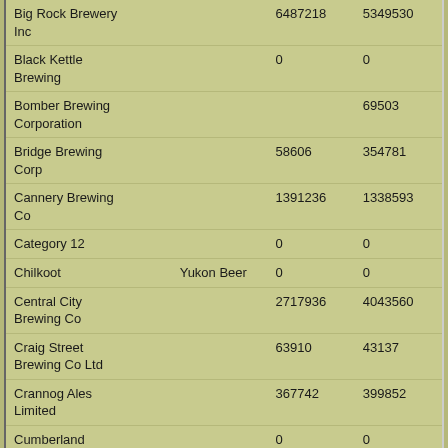|  |  |  |  |
| --- | --- | --- | --- |
| Big Rock Brewery Inc |  | 6487218 | 5349530 |
| Black Kettle Brewing |  | 0 | 0 |
| Bomber Brewing Corporation |  |  | 69503 |
| Bridge Brewing Corp |  | 58606 | 354781 |
| Cannery Brewing Co |  | 1391236 | 1338593 |
| Category 12 |  | 0 | 0 |
| Chilkoot | Yukon Beer | 0 | 0 |
| Central City Brewing Co |  | 2717936 | 4043560 |
| Craig Street Brewing Co Ltd |  | 63910 | 43137 |
| Crannog Ales Limited |  | 367742 | 399852 |
| Cumberland Brewing |  | 0 | 0 |
| Dageraad Brewing |  | 0 | 0 |
| Dead Frog Brewery |  | 1893880 | 2065463 |
| Deep Cove |  |  | 68699 |